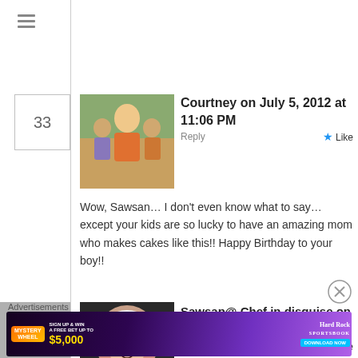≡
33
[Figure (photo): Avatar photo of Courtney showing a woman with two children]
Courtney on July 5, 2012 at 11:06 PM   Reply   ★ Like
Wow, Sawsan… I don't even know what to say… except your kids are so lucky to have an amazing mom who makes cakes like this!! Happy Birthday to your boy!!
34
[Figure (photo): Avatar photo of Sawsan wearing a hijab]
Sawsan@ Chef in disguise on July 6, 2012 at 1:02 PM   Reply   ★ Like
Advertisements
[Figure (screenshot): Hard Rock Sportsbook advertisement banner: Mystery Wheel - Sign Up & Win A Free Bet Up To $5,000 - Download Now]